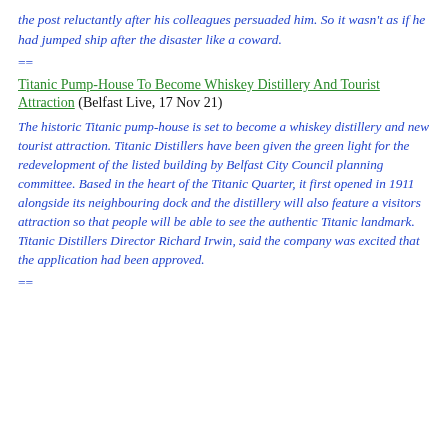the post reluctantly after his colleagues persuaded him. So it wasn't as if he had jumped ship after the disaster like a coward.
==
Titanic Pump-House To Become Whiskey Distillery And Tourist Attraction (Belfast Live, 17 Nov 21)
The historic Titanic pump-house is set to become a whiskey distillery and new tourist attraction. Titanic Distillers have been given the green light for the redevelopment of the listed building by Belfast City Council planning committee. Based in the heart of the Titanic Quarter, it first opened in 1911 alongside its neighbouring dock and the distillery will also feature a visitors attraction so that people will be able to see the authentic Titanic landmark. Titanic Distillers Director Richard Irwin, said the company was excited that the application had been approved.
==